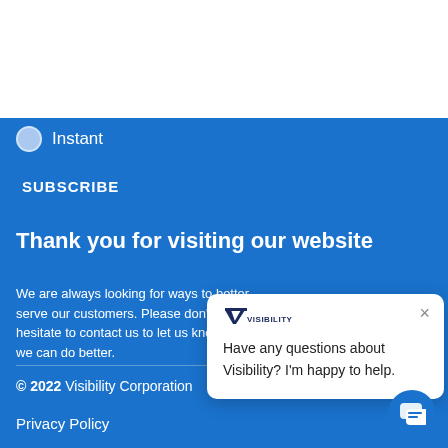[Figure (logo): Visibility Corporation logo with stylized V and VISIBILITY text in navy blue]
Instant
SUBSCRIBE
Thank you for visiting our website
We are always looking for ways to better serve our customers. Please don't hesitate to contact us to let us know how we can do better.
[Figure (screenshot): Chat popup with Visibility logo, close button, and text: Have any questions about Visibility? I'm happy to help.]
© 2022 Visibility Corporation
Privacy Policy